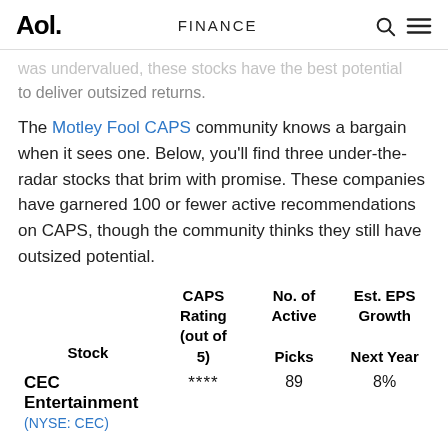Aol. | FINANCE
was undervalued, these stocks have the best potential to deliver outsized returns.
The Motley Fool CAPS community knows a bargain when it sees one. Below, you'll find three under-the-radar stocks that brim with promise. These companies have garnered 100 or fewer active recommendations on CAPS, though the community thinks they still have outsized potential.
| Stock | CAPS Rating (out of 5) | No. of Active Picks | Est. EPS Growth Next Year |
| --- | --- | --- | --- |
| CEC Entertainment (NYSE: CEC) | **** | 89 | 8% |